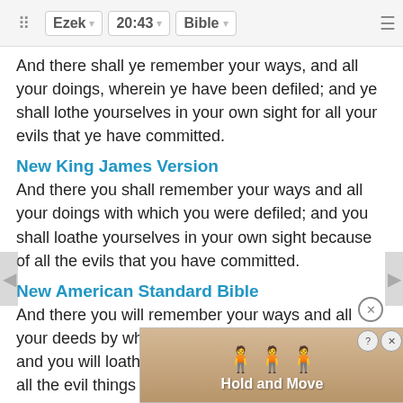Ezek  20:43  Bible
And there shall ye remember your ways, and all your doings, wherein ye have been defiled; and ye shall lothe yourselves in your own sight for all your evils that ye have committed.
New King James Version
And there you shall remember your ways and all your doings with which you were defiled; and you shall loathe yourselves in your own sight because of all the evils that you have committed.
New American Standard Bible
And there you will remember your ways and all your deeds by which you have defiled yourselves; and you will loathe yourselves in your own sight for all the evil things that you have done.
NASB
“Ther…
[Figure (screenshot): Ad overlay showing 'Hold and Move' with cartoon figures, with close (X) and help (?) buttons]